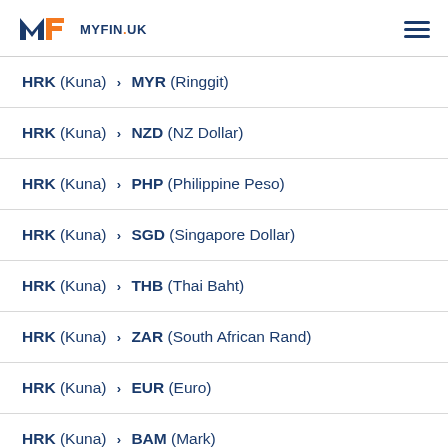MYFIN.UK
HRK (Kuna) > MYR (Ringgit)
HRK (Kuna) > NZD (NZ Dollar)
HRK (Kuna) > PHP (Philippine Peso)
HRK (Kuna) > SGD (Singapore Dollar)
HRK (Kuna) > THB (Thai Baht)
HRK (Kuna) > ZAR (South African Rand)
HRK (Kuna) > EUR (Euro)
HRK (Kuna) > BAM (Mark)